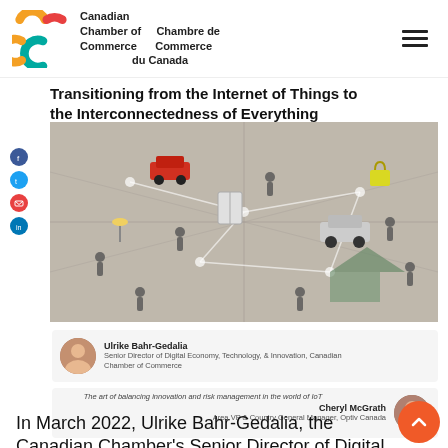Canadian Chamber of Commerce / Chambre de Commerce du Canada
Transitioning from the Internet of Things to the Interconnectedness of Everything
[Figure (illustration): Isometric illustration showing a connected smart city with people, vehicles, homes, and devices networked together on a grid background.]
[Figure (photo): Author photo: Ulrike Bahr-Gedalia, Senior Director of Digital Economy, Technology, & Innovation, Canadian Chamber of Commerce]
Ulrike Bahr-Gedalia
Senior Director of Digital Economy, Technology, & Innovation, Canadian Chamber of Commerce
[Figure (photo): Author photo: Cheryl McGrath, Area VP & Country General Manager, Optiv Canada]
Cheryl McGrath
Area VP & Country General Manager, Optiv Canada
The art of balancing innovation and risk management in the world of IoT
In March 2022, Ulrike Bahr-Gedalia, the Canadian Chamber's Senior Director of Digital